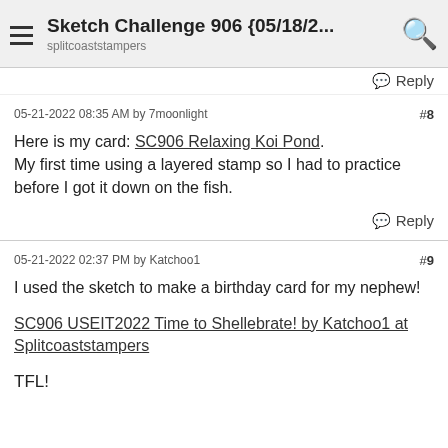Sketch Challenge 906 {05/18/2... | splitcoaststampers
Reply
05-21-2022 08:35 AM by 7moonlight  #8
Here is my card: SC906 Relaxing Koi Pond.
My first time using a layered stamp so I had to practice before I got it down on the fish.
Reply
05-21-2022 02:37 PM by Katchoo1  #9
I used the sketch to make a birthday card for my nephew!
SC906 USEIT2022 Time to Shellebrate! by Katchoo1 at Splitcoaststampers
TFL!